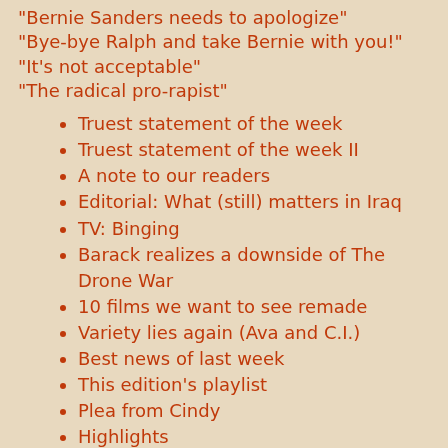"Bernie Sanders needs to apologize"
"Bye-bye Ralph and take Bernie with you!"
"It's not acceptable"
"The radical pro-rapist"
Truest statement of the week
Truest statement of the week II
A note to our readers
Editorial: What (still) matters in Iraq
TV: Binging
Barack realizes a downside of The Drone War
10 films we want to see remade
Variety lies again (Ava and C.I.)
Best news of last week
This edition's playlist
Plea from Cindy
Highlights
"Who's joined the campaign?"